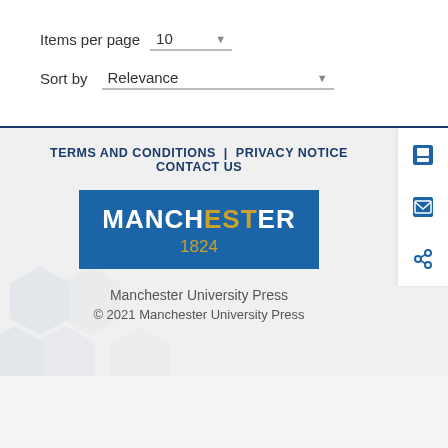Items per page  10
Sort by  Relevance
TERMS AND CONDITIONS | PRIVACY NOTICE
CONTACT US
[Figure (logo): Manchester University Press logo: blue rectangle with MANCHESTER in white bold text and EST highlighted in gold, 1824 in gold below]
Manchester University Press
© 2021 Manchester University Press